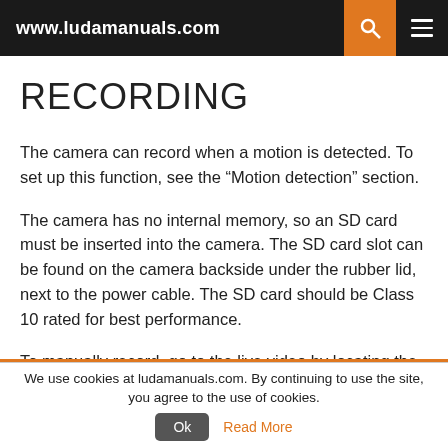www.ludamanuals.com
RECORDING
The camera can record when a motion is detected. To set up this function, see the “Motion detection” section.
The camera has no internal memory, so an SD card must be inserted into the camera. The SD card slot can be found on the camera backside under the rubber lid, next to the power cable. The SD card should be Class 10 rated for best performance.
To manually record, go to the live video by locating the camera
We use cookies at ludamanuals.com. By continuing to use the site, you agree to the use of cookies. Ok Read More